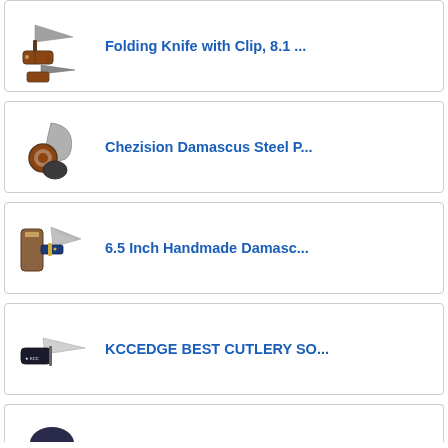Folding Knife with Clip, 8.1 ...
Chezision Damascus Steel P...
6.5 Inch Handmade Damasc...
KCCEDGE BEST CUTLERY SO...
(partial fifth item)